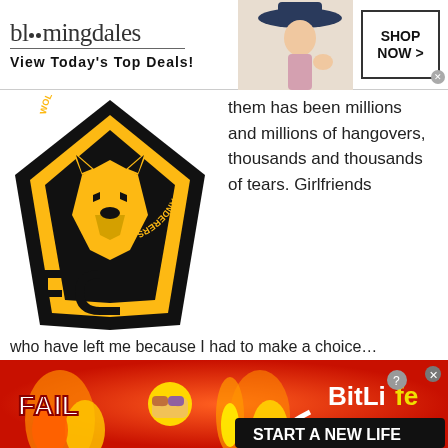[Figure (screenshot): Bloomingdales advertisement banner: logo text 'bloomingdales', tagline 'View Today's Top Deals!', model photo, and 'SHOP NOW >' button]
[Figure (logo): Wolverhampton Wanderers FC badge/crest logo - black diamond shape with gold wolf head]
them has been millions and millions of hangovers, thousands and thousands of tears. Girlfriends who have left me because I had to make a choice… because I had to go to the Wolves… or to the dogs. So I just love the idea of this community of crackpots, crazy guys and women who go week
[Figure (screenshot): BitLife advertisement banner: red/fire background, FAIL text, facepalm emoji, flame, sperm logo, 'BitLife', 'START A NEW LIFE' text on black bar]